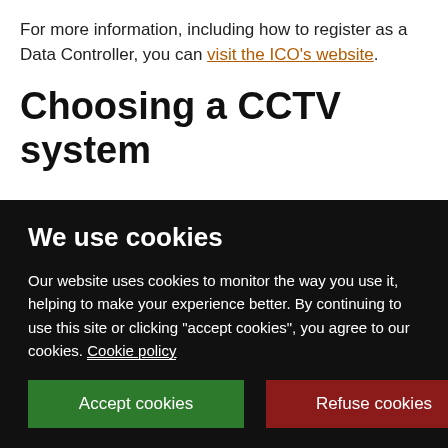For more information, including how to register as a Data Controller, you can visit the ICO's website.
Choosing a CCTV system
We use cookies
Our website uses cookies to monitor the way you use it, helping to make your experience better. By continuing to use this site or clicking "accept cookies", you agree to our cookies. Cookie policy